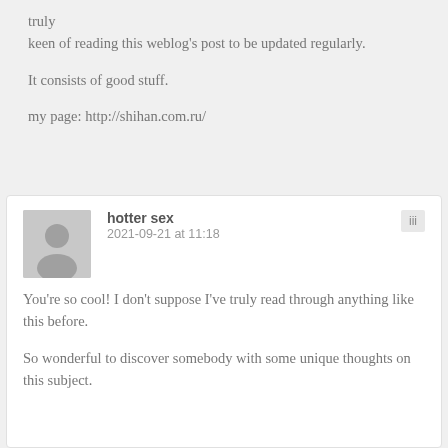truly
keen of reading this weblog's post to be updated regularly.

It consists of good stuff.

my page: http://shihan.com.ru/
hotter sex | 2021-09-21 at 11:18
You're so cool! I don't suppose I've truly read through anything like this before.

So wonderful to discover somebody with some unique thoughts on this subject.